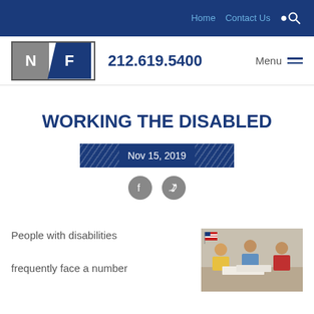Home  Contact Us
[Figure (logo): NF law firm logo with gray N block and blue F block]
212.619.5400  Menu
WORKING THE DISABLED
Nov 15, 2019
[Figure (infographic): Social share icons: Facebook and Twitter circular gray buttons]
People with disabilities frequently face a number
[Figure (photo): Three people working together at a table, one wearing a yellow top, American flag in background]